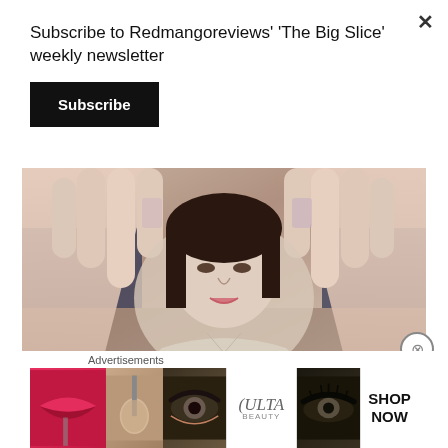Subscribe to Redmangoreviews' 'The Big Slice' weekly newsletter
Subscribe
[Figure (photo): Woman holding both hands up toward camera with fingers spread, framing her face, sitting in what appears to be a makeup/beauty store setting. Photo is partially cropped.]
It was at about 8.15 am when the drugs began to take hold
Or if that doesn’t do it for you, then how about this gem from Rick and Morty: “Nobody exists on
Advertisements
[Figure (other): Ulta Beauty advertisement banner showing cosmetic product images including lips, makeup brush, eye, Ulta logo, mascara eye, with SHOP NOW text]